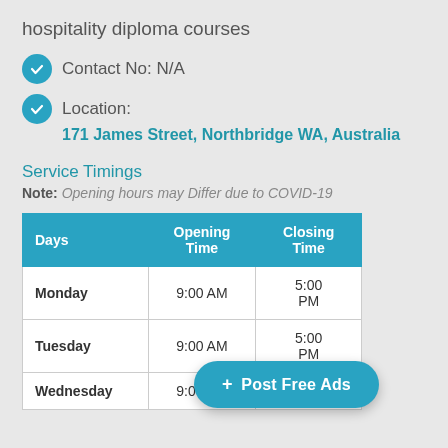hospitality diploma courses
Contact No: N/A
Location:
171 James Street, Northbridge WA, Australia
Service Timings
Note: Opening hours may Differ due to COVID-19
| Days | Opening Time | Closing Time |
| --- | --- | --- |
| Monday | 9:00 AM | 5:00 PM |
| Tuesday | 9:00 AM | 5:00 PM |
| Wednesday | 9:00 AM | 5:00 PM |
+ Post Free Ads